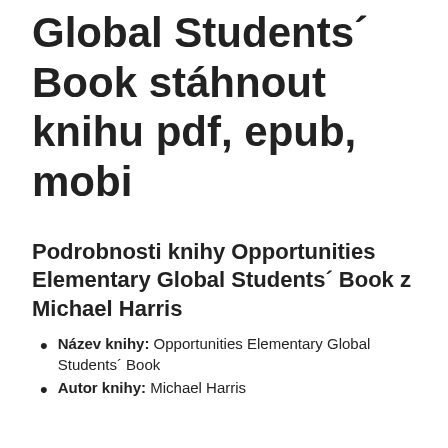Global Students´ Book stáhnout knihu pdf, epub, mobi
Podrobnosti knihy Opportunities Elementary Global Students´ Book z Michael Harris
Název knihy: Opportunities Elementary Global Students´ Book
Autor knihy: Michael Harris